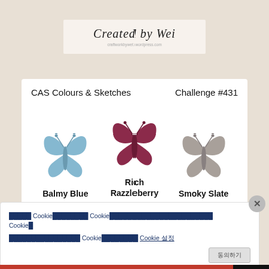[Figure (photo): Top handwritten style card with cursive text 'Created by Wei' and website URL on cream background]
[Figure (infographic): CAS Colours & Sketches Challenge #431 card showing three butterfly silhouettes in Balmy Blue, Rich Razzleberry, and Smoky Slate colors]
[Figure (screenshot): WordPress banner with WP logo and gradient orange-pink-purple advertisement]
xxxxxx Cookiexxxxxxxx Cookiexxxxxxxxxxxxxxxxxxxxxxxxxx Cookie
xxxxxxxxxxxxxxxx Cookixxxxxxxxxx Cookie 설정
동의하기